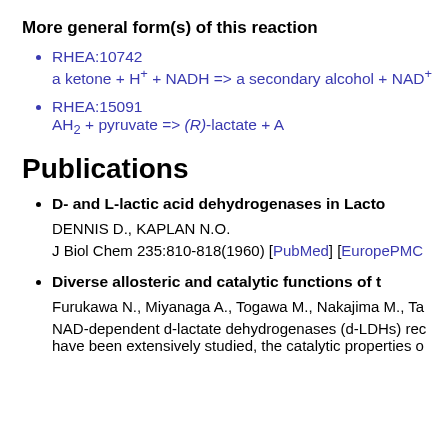More general form(s) of this reaction
RHEA:10742
a ketone + H+ + NADH => a secondary alcohol + NAD+
RHEA:15091
AH2 + pyruvate => (R)-lactate + A
Publications
D- and L-lactic acid dehydrogenases in Lacto…
DENNIS D., KAPLAN N.O.
J Biol Chem 235:810-818(1960) [PubMed] [EuropePMC…
Diverse allosteric and catalytic functions of t…
Furukawa N., Miyanaga A., Togawa M., Nakajima M., Ta…
NAD-dependent d-lactate dehydrogenases (d-LDHs) rec… have been extensively studied, the catalytic properties o…